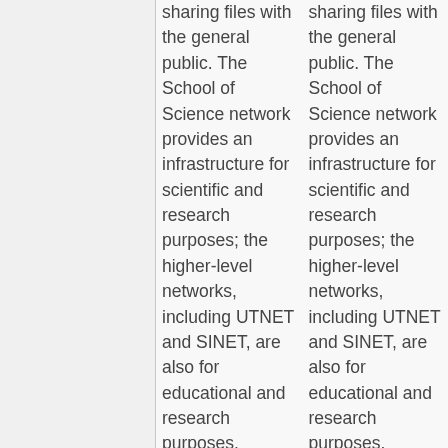sharing files with the general public. The School of Science network provides an infrastructure for scientific and research purposes; the higher-level networks, including UTNET and SINET, are also for educational and research purposes. Upstream firewalls detect all types of malware, including these applications, and
sharing files with the general public. The School of Science network provides an infrastructure for scientific and research purposes; the higher-level networks, including UTNET and SINET, are also for educational and research purposes. Upstream firewalls detect all types of malware, including these applications, and